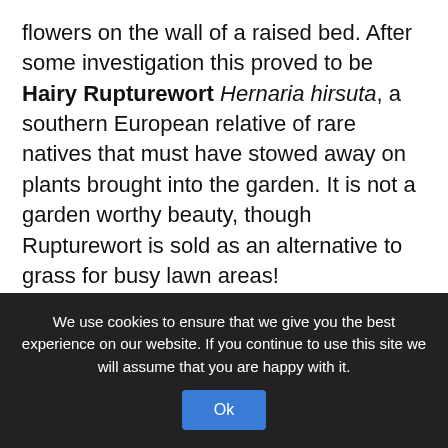flowers on the wall of a raised bed. After some investigation this proved to be Hairy Rupturewort Hernaria hirsuta, a southern European relative of rare natives that must have stowed away on plants brought into the garden. It is not a garden worthy beauty, though Rupturewort is sold as an alternative to grass for busy lawn areas!

After spending some time in the garden we then made our way down to the Ae Water. This is a spatey river coming off Queensbury and Ae Forest and clearly prone to floods that bring down lots of stone and gravel. While it has been confined to a
We use cookies to ensure that we give you the best experience on our website. If you continue to use this site we will assume that you are happy with it.